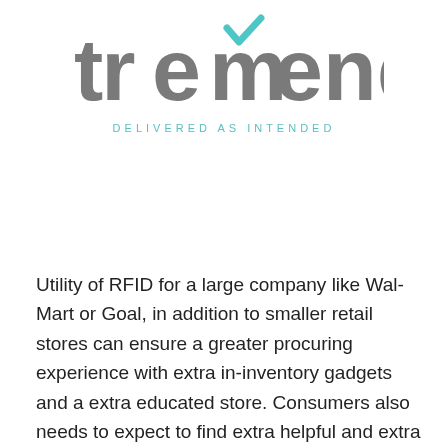[Figure (logo): Tremendend logo: large grey text 'tremend' with a teal checkmark above the 'm', and tagline 'DELIVERED AS INTENDED' in teal spaced capitals below]
Utility of RFID for a large company like Wal-Mart or Goal, in addition to smaller retail stores can ensure a greater procuring experience with extra in-inventory gadgets and a extra educated store. Consumers also needs to expect to find extra helpful and extra informative prospects service